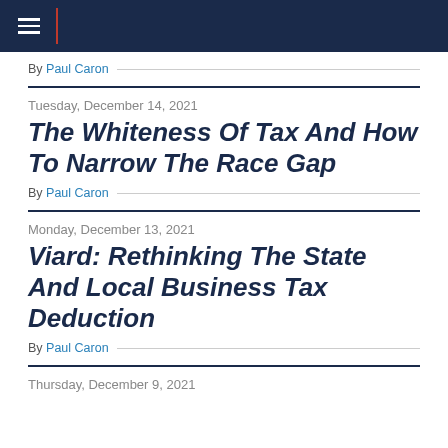Navigation bar with hamburger menu
By Paul Caron
Tuesday, December 14, 2021
The Whiteness Of Tax And How To Narrow The Race Gap
By Paul Caron
Monday, December 13, 2021
Viard: Rethinking The State And Local Business Tax Deduction
By Paul Caron
Thursday, December 9, 2021